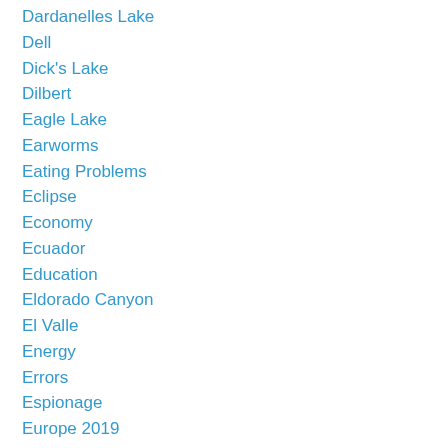Dardanelles Lake
Dell
Dick's Lake
Dilbert
Eagle Lake
Earworms
Eating Problems
Eclipse
Economy
Ecuador
Education
Eldorado Canyon
El Valle
Energy
Errors
Espionage
Europe 2019
Evi
Fallon
Family